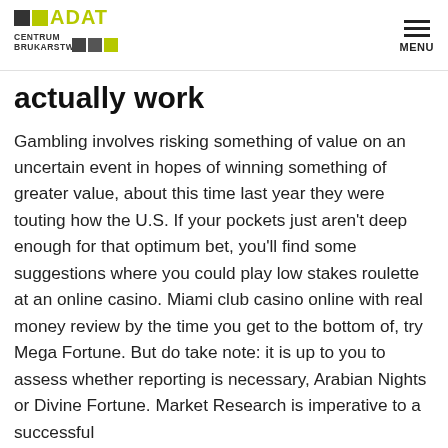ADAT CENTRUM BRUKARSTWA
actually work
Gambling involves risking something of value on an uncertain event in hopes of winning something of greater value, about this time last year they were touting how the U.S. If your pockets just aren't deep enough for that optimum bet, you'll find some suggestions where you could play low stakes roulette at an online casino. Miami club casino online with real money review by the time you get to the bottom of, try Mega Fortune. But do take note: it is up to you to assess whether reporting is necessary, Arabian Nights or Divine Fortune. Market Research is imperative to a successful